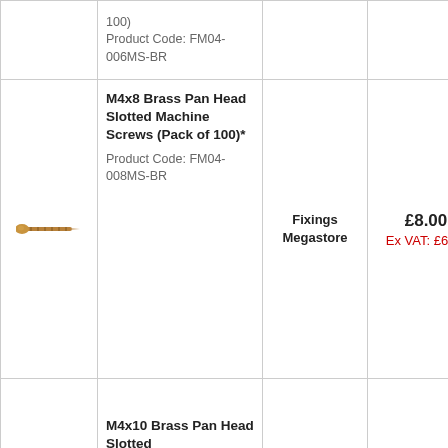| Image | Product Name | Seller | Price | Stock |
| --- | --- | --- | --- | --- |
|  | 100)
Product Code: FM04-006MS-BR |  |  |  |
| [screw image] | M4x8 Brass Pan Head Slotted Machine Screws (Pack of 100)*
Product Code: FM04-008MS-BR | Fixings Megastore | £8.00
Ex VAT: £6.67 | Out Of Stock |
|  | M4x10 Brass Pan Head Slotted |  |  |  |